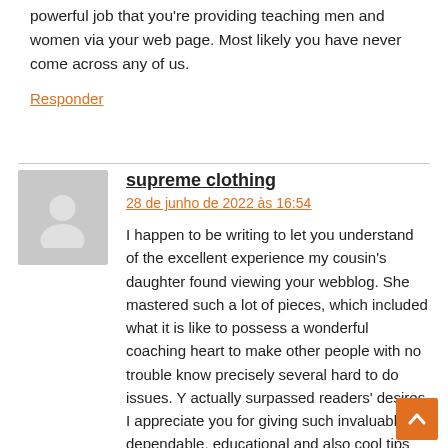powerful job that you're providing teaching men and women via your web page. Most likely you have never come across any of us.
Responder
supreme clothing
28 de junho de 2022 às 16:54
I happen to be writing to let you understand of the excellent experience my cousin's daughter found viewing your webblog. She mastered such a lot of pieces, which included what it is like to possess a wonderful coaching heart to make other people with no trouble know precisely several hard to do issues. Y actually surpassed readers' desires. I appreciate you for giving such invaluable, dependable, educational and also cool tips on